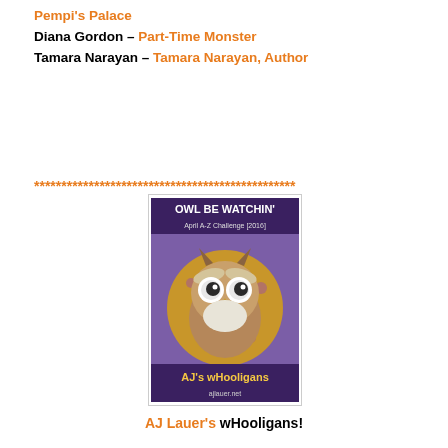Penny, Diana Gordon – Part-Time Monster
Tamara Narayan – Tamara Narayan, Author
* * * * * * * * * * * * * * * * * * * * * * * * * * * * * * * * * * * * * * * * * * * *
[Figure (illustration): Promotional badge/image for 'OWL BE WATCHIN' April A-Z Challenge [2016] AJ's wHooligans ajlauer.net, featuring a cartoon owl on a purple circular background]
AJ Lauer's wHooligans!